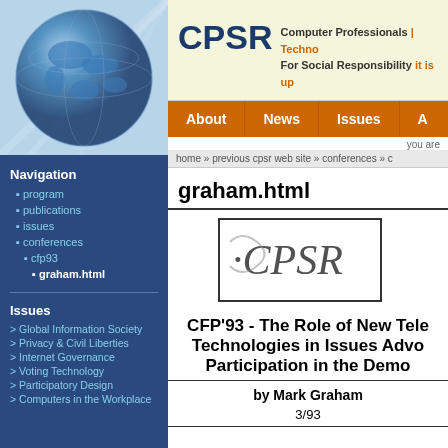[Figure (illustration): Globe/world map image in blue tones for CPSR website sidebar]
Navigation
program
publications
issues
conferences
cfp93
graham.html
Issues
> Global Information Society
> Privacy & Civil Liberties
> Internet Governance
> Voting Technology
> Participatory Design
> Computers in the Workplace
CPSR Computer Professionals For Social Responsibility | Technology it is up
About   News   Issues
you are
home » previous cpsr web site » conferences » c
graham.html
[Figure (logo): CPSR logo with stylized text in a box]
CFP'93 - The Role of New Tele Technologies in Issues Advo Participation in the Demo
by Mark Graham
3/93